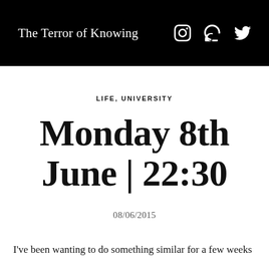The Terror of Knowing
LIFE, UNIVERSITY
Monday 8th June | 22:30
08/06/2015
I've been wanting to do something similar for a few weeks